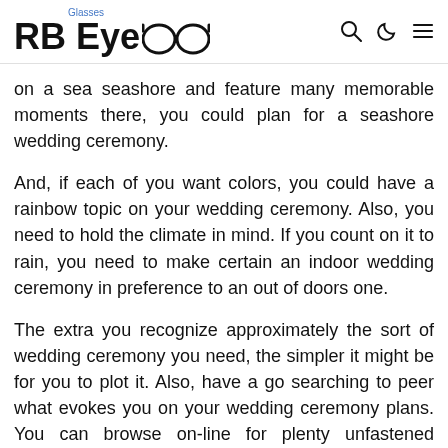RB Eye Glasses
on a sea seashore and feature many memorable moments there, you could plan for a seashore wedding ceremony.
And, if each of you want colors, you could have a rainbow topic on your wedding ceremony. Also, you need to hold the climate in mind. If you count on it to rain, you need to make certain an indoor wedding ceremony in preference to an out of doors one.
The extra you recognize approximately the sort of wedding ceremony you need, the simpler it might be for you to plot it. Also, have a go searching to peer what evokes you on your wedding ceremony plans. You can browse on-line for plenty unfastened wedding ceremony-making plans